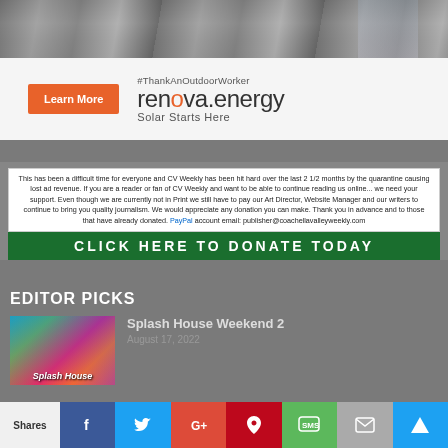[Figure (photo): Top ad banner photo showing outdoor worker silhouette against sky]
[Figure (infographic): Renova Energy advertisement with orange Learn More button, hashtag #ThankAnOutdoorWorker, renova.energy logo, and Solar Starts Here tagline]
This has been a difficult time for everyone and CV Weekly has been hit hard over the last 2 1/2 months by the quarantine causing lost ad revenue. If you are a reader or fan of CV Weekly and want to be able to continue reading us online... we need your support. Even though we are currently not in Print we still have to pay our Art Director, Website Manager and our writers to continue to bring you quality journalism. We would appreciate any donation you can make. Thank you in advance and to those that have already donated. PayPal account email: publisher@coachellavalleyweekly.com
CLICK HERE TO DONATE TODAY
EDITOR PICKS
[Figure (photo): Splash House thumbnail image with colorful festival colors]
Splash House Weekend 2
August 17, 2022
Shares